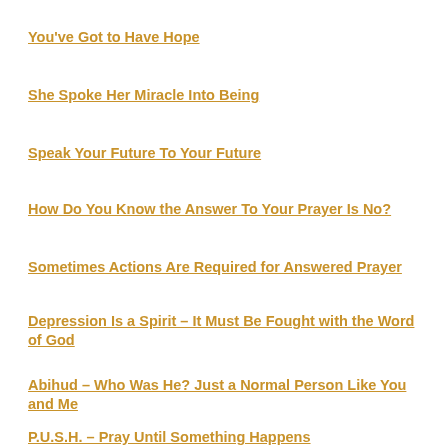You've Got to Have Hope
She Spoke Her Miracle Into Being
Speak Your Future To Your Future
How Do You Know the Answer To Your Prayer Is No?
Sometimes Actions Are Required for Answered Prayer
Depression Is a Spirit – It Must Be Fought with the Word of God
Abihud – Who Was He? Just a Normal Person Like You and Me
P.U.S.H. – Pray Until Something Happens